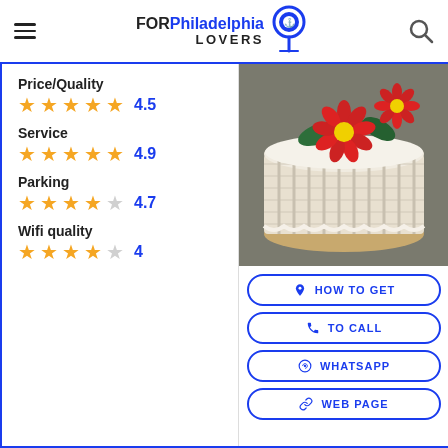FOR Philadelphia LOVERS
Price/Quality 4.5
Service 4.9
Parking 4.7
Wifi quality 4
[Figure (photo): A decorative white frosted cake with woven basket-weave pattern and red daisy flowers on top.]
HOW TO GET
TO CALL
WHATSAPP
WEB PAGE